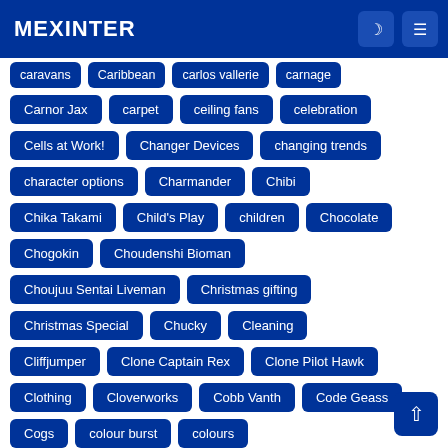MEXINTER
caravans
Caribbean
carlos vallerie
carnage
Carnor Jax
carpet
ceiling fans
celebration
Cells at Work!
Changer Devices
changing trends
character options
Charmander
Chibi
Chika Takami
Child's Play
children
Chocolate
Chogokin
Choudenshi Bioman
Choujuu Sentai Liveman
Christmas gifting
Christmas Special
Chucky
Cleaning
Cliffjumper
Clone Captain Rex
Clone Pilot Hawk
Clothing
Cloverworks
Cobb Vanth
Code Geass
Cogs
colour burst
colours
Combat Mecha Xabungle
comfort and elegance